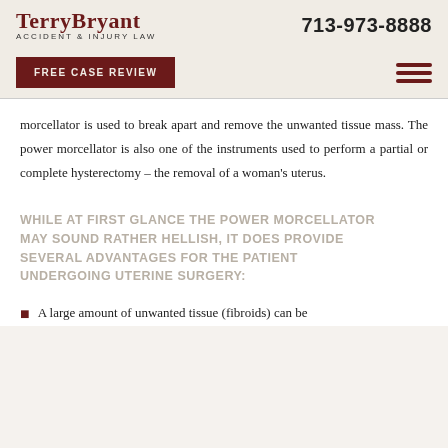TerryBryant ACCIDENT & INJURY LAW | 713-973-8888
FREE CASE REVIEW
morcellator is used to break apart and remove the unwanted tissue mass. The power morcellator is also one of the instruments used to perform a partial or complete hysterectomy – the removal of a woman's uterus.
WHILE AT FIRST GLANCE THE POWER MORCELLATOR MAY SOUND RATHER HELLISH, IT DOES PROVIDE SEVERAL ADVANTAGES FOR THE PATIENT UNDERGOING UTERINE SURGERY:
A large amount of unwanted tissue (fibroids) can be